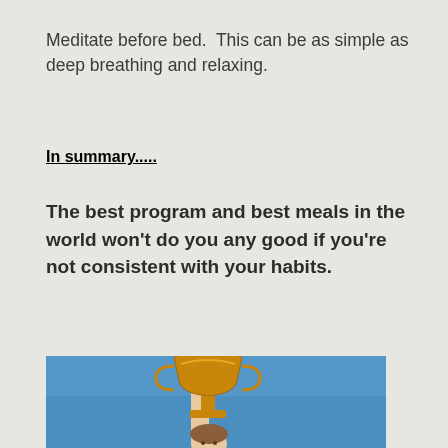Meditate before bed.  This can be as simple as deep breathing and relaxing.
In summary.....
The best program and best meals in the world won't do you any good if you're not consistent with your habits.
[Figure (photo): Person holding up a trophy against a blue sky background]